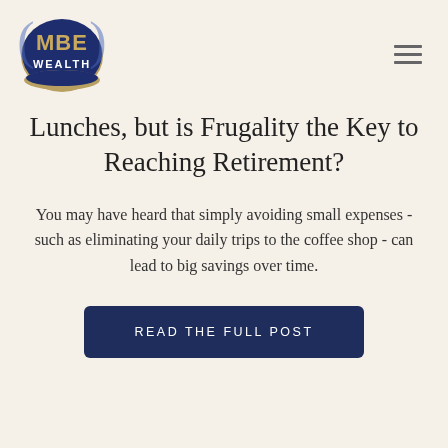[Figure (logo): MBE Wealth oval logo with dark blue background, gold 'MBE' text, and 'WEALTH' in white text below]
Lunches, but is Frugality the Key to Reaching Retirement?
You may have heard that simply avoiding small expenses - such as eliminating your daily trips to the coffee shop - can lead to big savings over time.
READ THE FULL POST